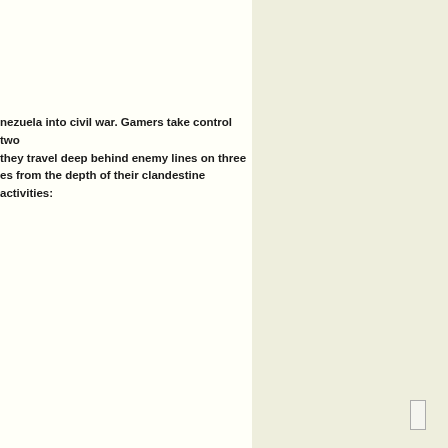nezuela into civil war. Gamers take control two they travel deep behind enemy lines on three es from the depth of their clandestine activities: